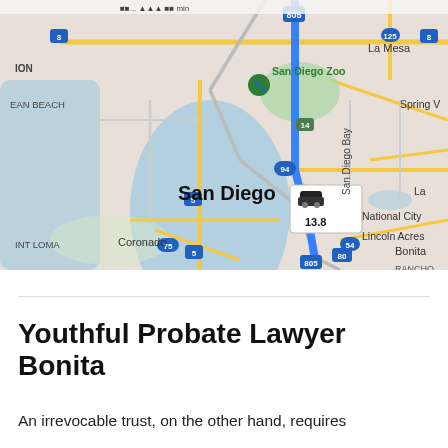[Figure (map): Google Maps screenshot showing a driving route from San Diego to Bonita, CA. Route highlighted in blue along I-805/I-5/805. Distance indicator shows 13.8 miles. Map labels include San Diego Zoo, San Diego, Point Loma, Coronado, National City, Lincoln Acres, Bonita, La Mesa, Spring Valley, Rancho Del Rey, and San Diego Bay.]
Youthful Probate Lawyer Bonita
An irrevocable trust, on the other hand, requires